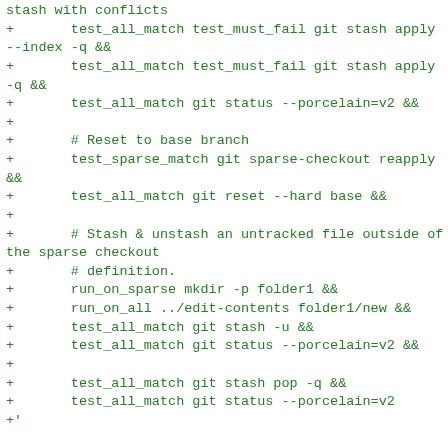stash with conflicts
+       test_all_match test_must_fail git stash apply --index -q &&
+       test_all_match test_must_fail git stash apply -q &&
+       test_all_match git status --porcelain=v2 &&
+
+       # Reset to base branch
+       test_sparse_match git sparse-checkout reapply &&
+       test_all_match git reset --hard base &&
+
+       # Stash & unstash an untracked file outside of the sparse checkout
+       # definition.
+       run_on_sparse mkdir -p folder1 &&
+       run_on_all ../edit-contents folder1/new &&
+       test_all_match git stash -u &&
+       test_all_match git status --porcelain=v2 &&
+
+       test_all_match git stash pop -q &&
+       test_all_match git status --porcelain=v2
+'